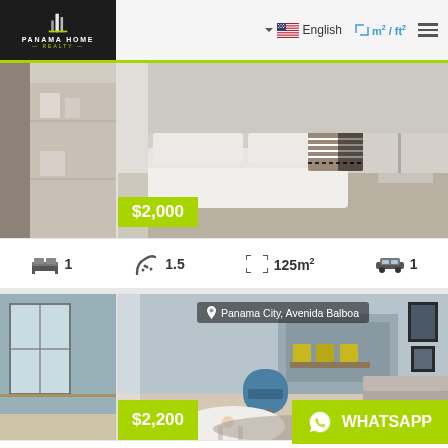[Figure (logo): Panama Home Realty logo — white building icon on dark background with green accent line]
English
m² / ft²
[Figure (photo): Interior photo of apartment with white sofa and chevron pattern pillow, price tag $2,000]
$2,000
1  1.5  125m²  1
[Figure (photo): Interior photo of apartment at Panama City, Avenida Balboa with blue chair, white round table and grey sofa, price $2,200]
Panama City, Avenida Balboa
$2,200
WHATSAPP
1  1.5  125m²  1